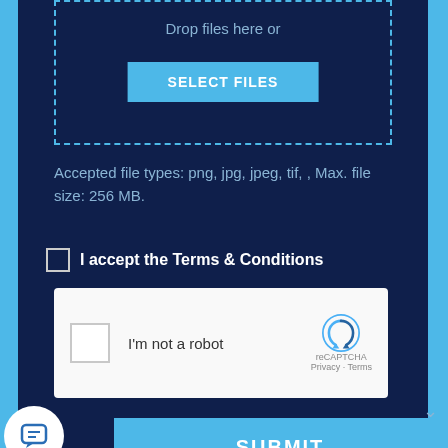Drop files here or
SELECT FILES
Accepted file types: png, jpg, jpeg, tif, , Max. file size: 256 MB.
I accept the Terms & Conditions
[Figure (screenshot): reCAPTCHA widget with checkbox and 'I'm not a robot' text, Google reCAPTCHA logo, Privacy and Terms links]
SUBMIT
Terms & Conditions